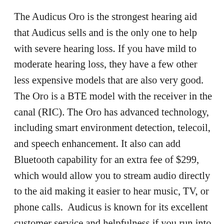The Audicus Oro is the strongest hearing aid that Audicus sells and is the only one to help with severe hearing loss. If you have mild to moderate hearing loss, they have a few other less expensive models that are also very good. The Oro is a BTE model with the receiver in the canal (RIC). The Oro has advanced technology, including smart environment detection, telecoil, and speech enhancement. It also can add Bluetooth capability for an extra fee of $299, which would allow you to stream audio directly to the aid making it easier to hear music, TV, or phone calls.  Audicus is known for its excellent customer service and helpfulness if you run into issues.